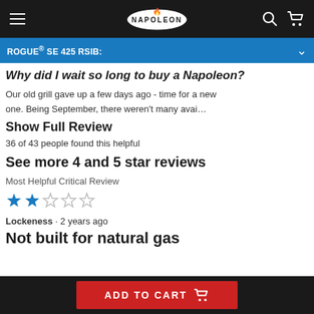Napoleon (logo) navigation bar with hamburger menu, search, and cart icons
ROGUE® SE 425 RSIB:
Why did I wait so long to buy a Napoleon?
Our old grill gave up a few days ago - time for a new one. Being September, there weren't many avai…
Show Full Review
36 of 43 people found this helpful
See more 4 and 5 star reviews
Most Helpful Critical Review
[Figure (other): 2-star rating (2 filled blue stars, 3 empty gray stars)]
Lockeness · 2 years ago
Not built for natural gas
ADD TO CART button